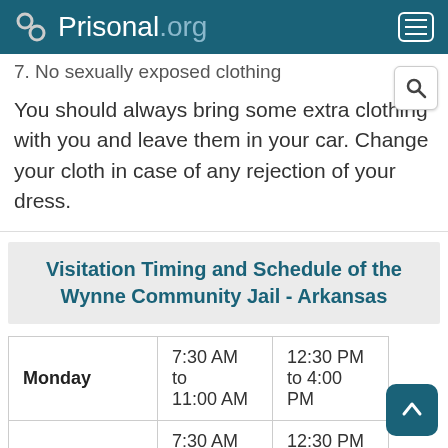Prisonal.org
7. No sexually exposed clothing
You should always bring some extra clothing with you and leave them in your car. Change your cloth in case of any rejection of your dress.
Visitation Timing and Schedule of the Wynne Community Jail - Arkansas
|  | Session 1 | Session 2 |  |
| --- | --- | --- | --- |
| Monday | 7:30 AM to 11:00 AM | 12:30 PM to 4:00 PM |  |
| Tuesday | 7:30 AM to 11:00 AM | 12:30 PM to 4:00 PM |  |
| Wednesday | 7:30 AM to | 12:30 PM |  |